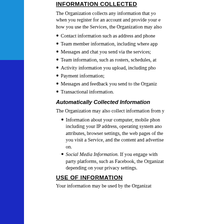INFORMATION COLLECTED
The Organization collects any information that you provide when you register for an account and provide your email, how you use the Services, the Organization may also
Contact information such as address and phone
Team member information, including where app
Messages and chat you send via the services;
Team information, such as rosters, schedules, at
Activity information you upload, including pho
Payment information;
Messages and feedback you send to the Organiz
Transactional information.
Automatically Collected Information
The Organization may also collect information from y
Information about your computer, mobile phon including your IP address, operating system ano attributes, browser settings, the web pages of the you visit a Service, and the content and advertise on.
Social Media Information. If you engage with party platforms, such as Facebook, the Organizat depending on your privacy settings.
USE OF INFORMATION
Your information may be used by the Organizat